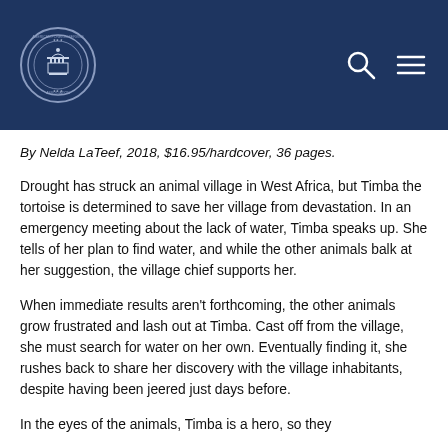[Figure (logo): American Foreign Service Association circular seal/logo in white on dark navy blue header background]
By Nelda LaTeef, 2018, $16.95/hardcover, 36 pages.
Drought has struck an animal village in West Africa, but Timba the tortoise is determined to save her village from devastation. In an emergency meeting about the lack of water, Timba speaks up. She tells of her plan to find water, and while the other animals balk at her suggestion, the village chief supports her.
When immediate results aren't forthcoming, the other animals grow frustrated and lash out at Timba. Cast off from the village, she must search for water on her own. Eventually finding it, she rushes back to share her discovery with the village inhabitants, despite having been jeered just days before.
In the eyes of the animals, Timba is a hero, so they